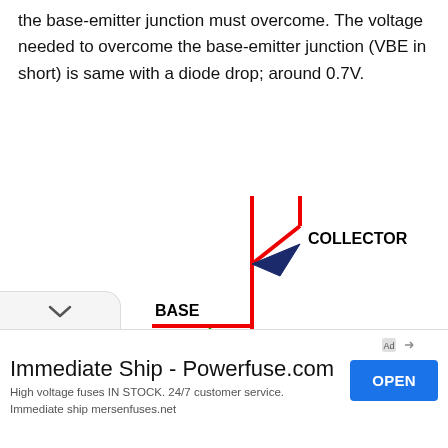the base-emitter junction must overcome. The voltage needed to overcome the base-emitter junction (VBE in short) is same with a diode drop; around 0.7V.
[Figure (circuit-diagram): NPN BJT transistor circuit diagram showing Collector (top), Base (left), and Emitter (bottom right) terminals. Red lines show collector/emitter paths with diode arrows in dark navy blue. A green arrow points down from the base horizontal line to an oval labeled 'Base-Emitter Junction', with another green arrow pointing left from the emitter line to the same oval.]
Immediate Ship - Powerfuse.com
High voltage fuses IN STOCK. 24/7 customer service. Immediate ship mersenfuses.net